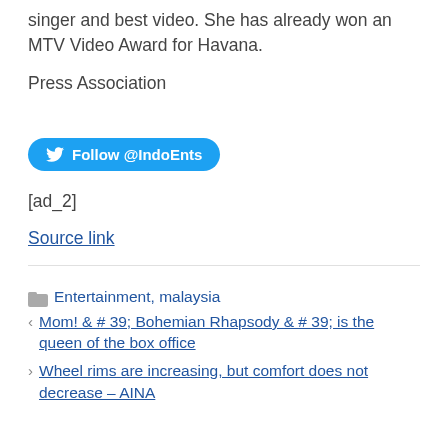singer and best video. She has already won an MTV Video Award for Havana.
Press Association
[Figure (other): Twitter Follow @IndoEnts button]
[ad_2]
Source link
Entertainment, malaysia
Mom! & # 39; Bohemian Rhapsody & # 39; is the queen of the box office
Wheel rims are increasing, but comfort does not decrease – AINA